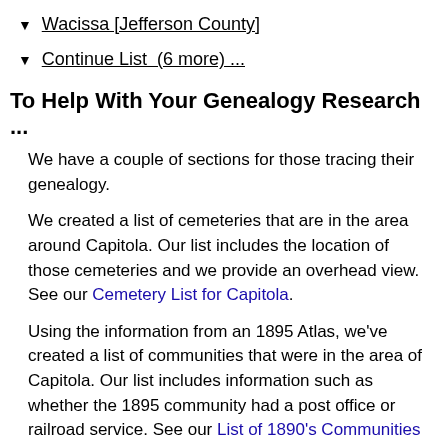▼ Wacissa [Jefferson County]
▼ Continue List (6 more) ...
To Help With Your Genealogy Research ...
We have a couple of sections for those tracing their genealogy.
We created a list of cemeteries that are in the area around Capitola. Our list includes the location of those cemeteries and we provide an overhead view. See our Cemetery List for Capitola.
Using the information from an 1895 Atlas, we've created a list of communities that were in the area of Capitola. Our list includes information such as whether the 1895 community had a post office or railroad service. See our List of 1890's Communities around Capitola.
We also have a detailed list of newspapers that have been published in the area